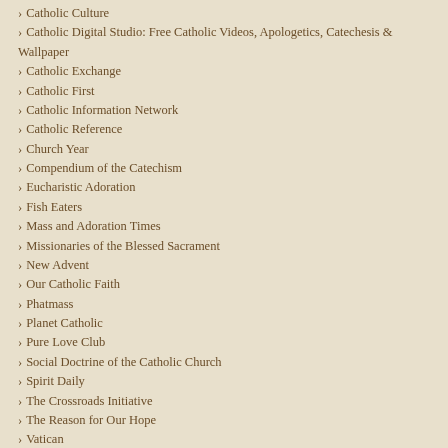Catholic Culture
Catholic Digital Studio: Free Catholic Videos, Apologetics, Catechesis & Wallpaper
Catholic Exchange
Catholic First
Catholic Information Network
Catholic Reference
Church Year
Compendium of the Catechism
Eucharistic Adoration
Fish Eaters
Mass and Adoration Times
Missionaries of the Blessed Sacrament
New Advent
Our Catholic Faith
Phatmass
Planet Catholic
Pure Love Club
Social Doctrine of the Catholic Church
Spirit Daily
The Crossroads Initiative
The Reason for Our Hope
Vatican
Blogs worth your time!